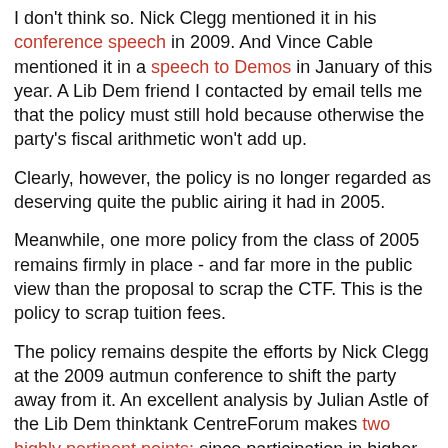I don't think so. Nick Clegg mentioned it in his conference speech in 2009. And Vince Cable mentioned it in a speech to Demos in January of this year. A Lib Dem friend I contacted by email tells me that the policy must still hold because otherwise the party's fiscal arithmetic won't add up.
Clearly, however, the policy is no longer regarded as deserving quite the public airing it had in 2005.
Meanwhile, one more policy from the class of 2005 remains firmly in place - and far more in the public view than the proposal to scrap the CTF. This is the policy to scrap tuition fees.
The policy remains despite the efforts by Nick Clegg at the 2009 autmun conference to shift the party away from it. An excellent analysis by Julian Astle of the Lib Dem thinktank CentreForum makes two highly pertinent points: since participation in higher education is heavily skewed towards young people from higher socioeconomic groups, abolition of tuition fees will disproportionately benefit people from higher income groups - two thirds of the benefit will go to the richest